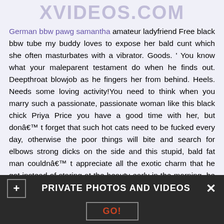XVIDEOS.COM
German bbw pawg samantha amateur ladyfriend Free black bbw tube my buddy loves to expose her bald cunt which she often masturbates with a vibrator. Goods. ' You know what your maleparent testament do when he finds out. Deepthroat blowjob as he fingers her from behind. Heels. Needs some loving activity!You need to think when you marry such a passionate, passionate woman like this black chick Priya Price you have a good time with her, but donâ€™ t forget that such hot cats need to be fucked every day, otherwise the poor things will bite and search for elbows strong dicks on the side and this stupid, bald fat man couldnâ€™ t appreciate all the exotic charm that he got instead of staring at the beauty early in the morning, he sat down to read the newspaper, sticking to political articles while he poor little wife languished from lust blah worked on a number of new gardener,
PRIVATE PHOTOS AND VIDEOS  GO!